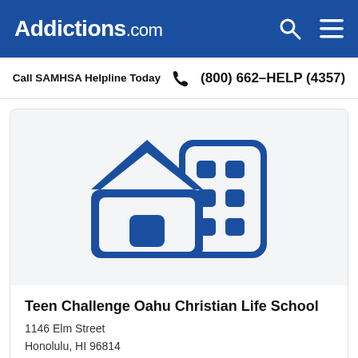Addictions.com
Call SAMHSA Helpline Today  (800) 662-HELP (4357)
[Figure (illustration): Blue icon showing a house and a multi-story building, representing a residential treatment facility]
Teen Challenge Oahu Christian Life School
1146 Elm Street
Honolulu, HI 96814